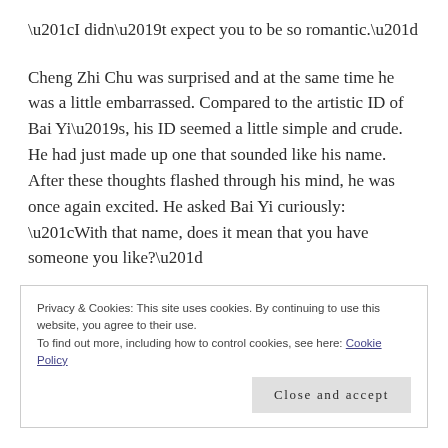“I didn’t expect you to be so romantic.”
Cheng Zhi Chu was surprised and at the same time he was a little embarrassed. Compared to the artistic ID of Bai Yi’s, his ID seemed a little simple and crude. He had just made up one that sounded like his name. After these thoughts flashed through his mind, he was once again excited. He asked Bai Yi curiously: “With that name, does it mean that you have someone you like?”
Privacy & Cookies: This site uses cookies. By continuing to use this website, you agree to their use.
To find out more, including how to control cookies, see here: Cookie Policy
Close and accept